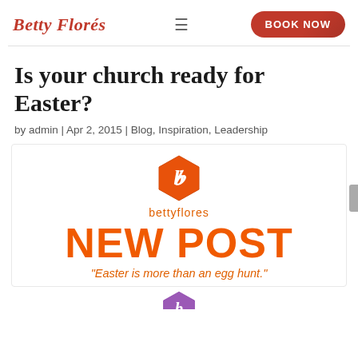Betty Florés | BOOK NOW
Is your church ready for Easter?
by admin | Apr 2, 2015 | Blog, Inspiration, Leadership
[Figure (logo): Betty Flores orange hexagon logo with letter B, brand name 'bettyflores', NEW POST text, and quote 'Easter is more than an egg hunt.']